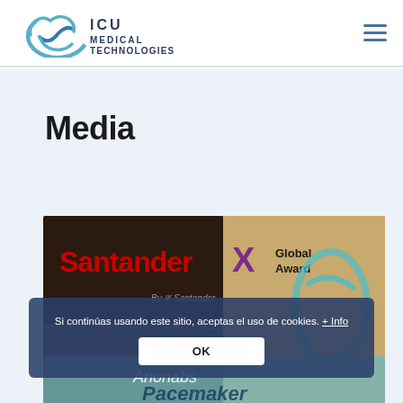ICU Medical Technologies
Media
[Figure (photo): Santander X Global Award banner with ICU Medical Technologies product packaging visible in background]
Si continúas usando este sitio, aceptas el uso de cookies. + Info
OK